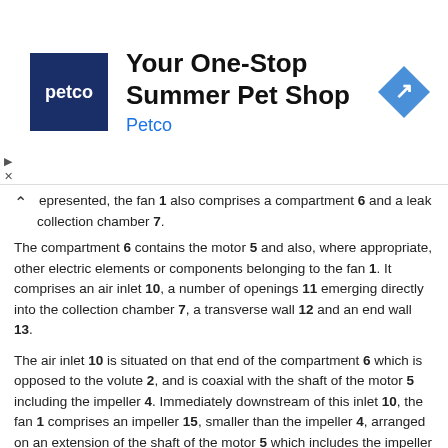[Figure (other): Petco advertisement banner with logo, headline 'Your One-Stop Summer Pet Shop', subtext 'Petco', and a blue navigation arrow icon]
represented, the fan 1 also comprises a compartment 6 and a leak collection chamber 7.
The compartment 6 contains the motor 5 and also, where appropriate, other electric elements or components belonging to the fan 1. It comprises an air inlet 10, a number of openings 11 emerging directly into the collection chamber 7, a transverse wall 12 and an end wall 13.
The air inlet 10 is situated on that end of the compartment 6 which is opposed to the volute 2, and is coaxial with the shaft of the motor 5 including the impeller 4. Immediately downstream of this inlet 10, the fan 1 comprises an impeller 15, smaller than the impeller 4, arranged on an extension of the shaft of the motor 5 which includes the impeller 4.
As will be understood, the rotation of this impeller 15 by the motor 5 makes it possible to create a pressurized air circulation in the compartment 6; this air passes into the collection chamber 7, for the most part through openings 11, and for the minor part through holes 16 belonging to the wall 12 and through the gap which exists between the hub of a deflector member 17